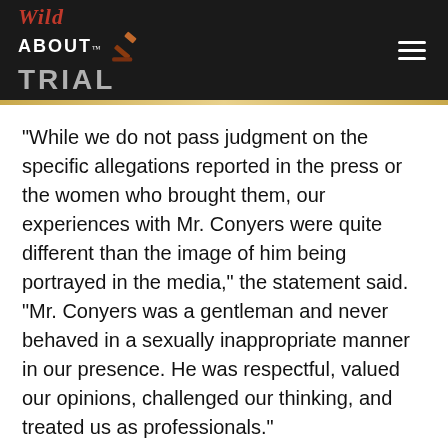Wild About Trial
“While we do not pass judgment on the specific allegations reported in the press or the women who brought them, our experiences with Mr. Conyers were quite different than the image of him being portrayed in the media,” the statement said. “Mr. Conyers was a gentleman and never behaved in a sexually inappropriate manner in our presence. He was respectful, valued our opinions, challenged our thinking, and treated us as professionals.”
By HOPE YEN
© Copyright 2017 Associated Press. All rights reserved. This material may not be published